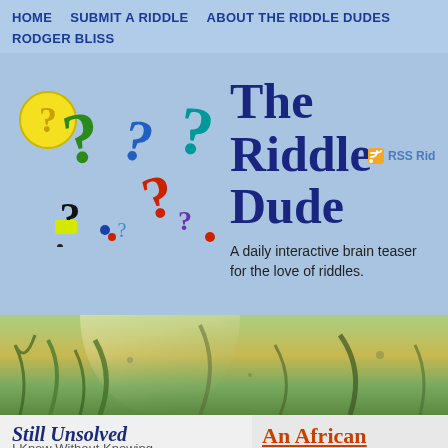HOME   SUBMIT A RIDDLE   ABOUT THE RIDDLE DUDES   RODGER BLISS
[Figure (illustration): Colorful question mark characters illustration — various colored question marks in yellow, green, blue, teal, black, red, purple arranged as cartoon-like figures]
The Riddle Dude
RSS Riddle
A daily interactive brain teaser for the love of riddles.
[Figure (photo): Underwater scene banner photo showing aquatic plants/seaweed and light filtering through water]
Still Unsolved
I Know Without Knowing
An African